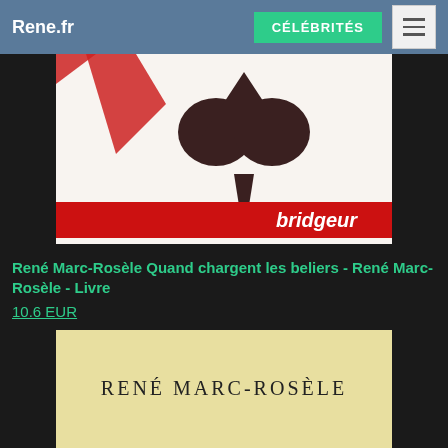Rene.fr  CÉLÉBRITÉS
[Figure (photo): Book cover showing a playing card spade symbol on white background with a red band at the bottom bearing the word 'bridgeur']
René Marc-Rosèle Quand chargent les beliers - René Marc-Rosèle - Livre
10.6 EUR
[Figure (photo): Book page or cover showing text 'RENÉ MARC-ROSÈLE' in uppercase on a pale yellow/cream background]